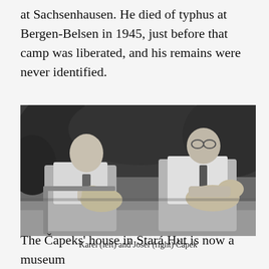at Sachsenhausen. He died of typhus at Bergen-Belsen in 1945, just before that camp was liberated, and his remains were never identified.
[Figure (photo): Black and white photograph of two men seated outdoors with dogs on their laps, surrounded by garden foliage. The man on the left is younger, wearing a short-sleeved shirt and tie. The man on the right is older, wearing glasses and a long-sleeved shirt with a tie.]
Karel (left) and Josef (right) Čapek
The Čapeks' house in Stará Hut is now a museum